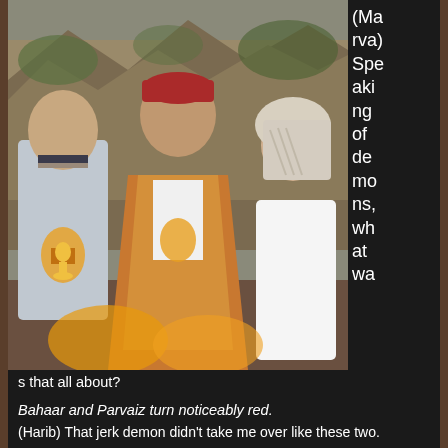[Figure (photo): Three young people standing together outdoors. The middle person wears a red cap and an orange/brown robe or cloak. The person on the left wears a light shirt. The person on the right wears a white headscarf. Rocky terrain visible in background.]
(Marva) Speaking of demons, what was that all about?
Bahaar and Parvaiz turn noticeably red.
(Harib) That jerk demon didn't take me over like these two.
(Bahaar) We apologized for that! It wasn't our fault.